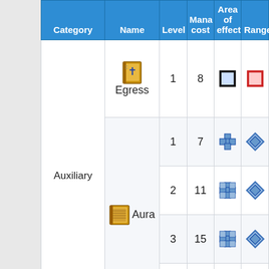| Category | Name | Level | Mana cost | Area of effect | Range |
| --- | --- | --- | --- | --- | --- |
| Auxiliary | Egress | 1 | 8 | [square icon] | [red square icon] |
|  | Aura | 1 | 7 | [cross icon] | [diamond icon] |
|  | Aura | 2 | 11 | [cross icon] | [diamond icon] |
|  | Aura | 3 | 15 | [cross icon] | [diamond icon] |
|  | Aura | 4 | 20 | [square icon] | [red square icon] |
|  |  | 1 | 3 | [square icon] | [diamond icon] |